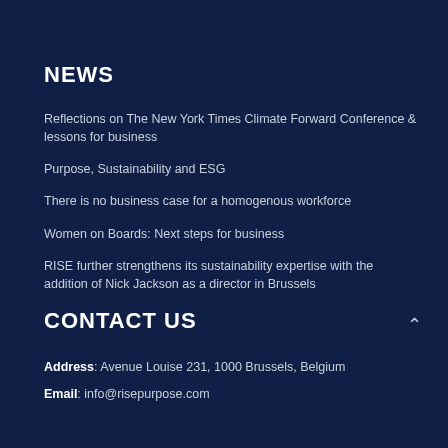NEWS
Reflections on The New York Times Climate Forward Conference & lessons for business
Purpose, Sustainability and ESG
There is no business case for a homogenous workforce
Women on Boards: Next steps for business
RISE further strengthens its sustainability expertise with the addition of Nick Jackson as a director in Brussels
CONTACT US
Address: Avenue Louise 231, 1000 Brussels, Belgium
Email: info@risepurpose.com